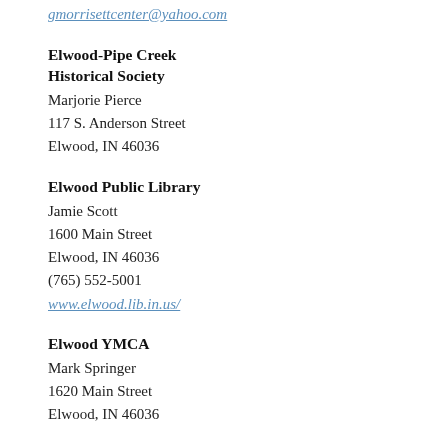gmorrisettcenter@yahoo.com
Elwood-Pipe Creek Historical Society
Marjorie Pierce
117 S. Anderson Street
Elwood, IN 46036
Elwood Public Library
Jamie Scott
1600 Main Street
Elwood, IN 46036
(765) 552-5001
www.elwood.lib.in.us/
Elwood YMCA
Mark Springer
1620 Main Street
Elwood, IN 46036